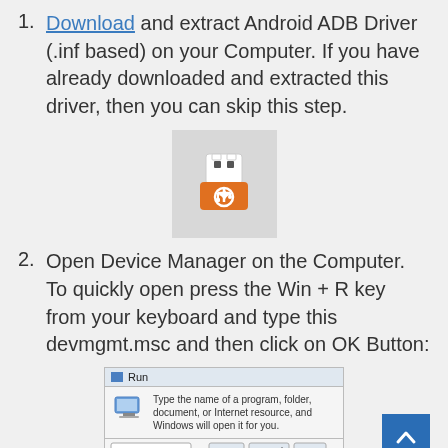Download and extract Android ADB Driver (.inf based) on your Computer. If you have already downloaded and extracted this driver, then you can skip this step.
[Figure (illustration): USB drive icon with orange USB symbol on grey background]
Open Device Manager on the Computer. To quickly open press the Win + R key from your keyboard and type this devmgmt.msc and then click on OK Button:
[Figure (screenshot): Windows Run dialog box showing 'Type the name of a program, folder, document, or Internet resource, and Windows will open it for you.']